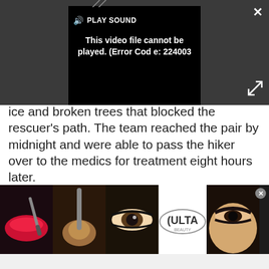[Figure (screenshot): Video player showing error: 'This video file cannot be played. (Error Code: 224003)' with PLAY SOUND button and close/expand controls on dark background]
ice and broken trees that blocked the rescuer's path. The team reached the pair by midnight and were able to pass the hiker over to the medics for treatment eight hours later.
[Figure (other): Advertisement placeholder box with light gray background]
[Figure (other): Ulta Beauty banner advertisement with makeup photos and SHOP NOW call to action]